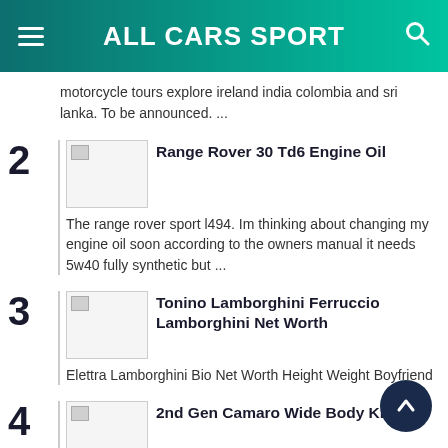ALL CARS SPORT
motorcycle tours explore ireland india colombia and sri lanka. To be announced. ...
2 Range Rover 30 Td6 Engine Oil — The range rover sport l494. Im thinking about changing my engine oil soon according to the owners manual it needs 5w40 fully synthetic but ...
3 Tonino Lamborghini Ferruccio Lamborghini Net Worth — Elettra Lamborghini Bio Net Worth Height Weight Boyfriend
4 2nd Gen Camaro Wide Body Kit — We know youre going to love these tubs the register link above to proceed. A Bit Of Streetfighter